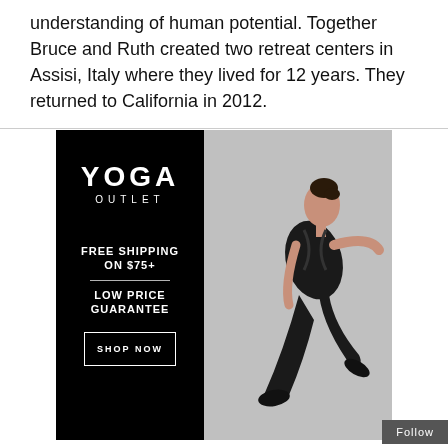understanding of human potential. Together Bruce and Ruth created two retreat centers in Assisi, Italy where they lived for 12 years. They returned to California in 2012.
[Figure (illustration): Yoga Outlet advertisement banner featuring a black left panel with the Yoga Outlet logo, text 'FREE SHIPPING ON $75+', 'LOW PRICE GUARANTEE', a 'SHOP NOW' button, and a model in black yoga attire seated on the right side against a gray background.]
Follow